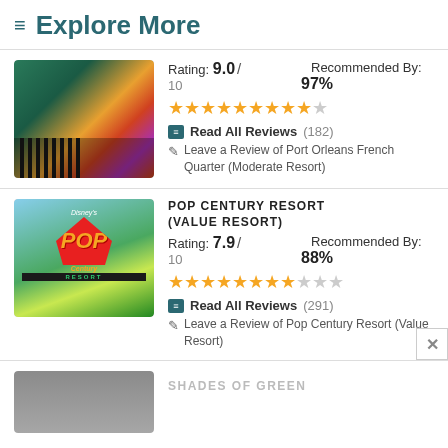≡ Explore More
[Figure (photo): Colorful costumed performer in front of ornate gate at Port Orleans French Quarter resort]
Rating: 9.0 / 10   Recommended By: 97%
★★★★★★★★★★☆ (9 full stars, 1 empty)
Read All Reviews (182)
Leave a Review of Port Orleans French Quarter (Moderate Resort)
[Figure (photo): Disney's Pop Century Resort colorful sign with blue sky background]
POP CENTURY RESORT (VALUE RESORT)
Rating: 7.9 / 10   Recommended By: 88%
★★★★★★★★☆☆ (8 full stars, 3 empty)
Read All Reviews (291)
Leave a Review of Pop Century Resort (Value Resort)
[Figure (photo): Shades of Green resort photo (partially visible at bottom)]
SHADES OF GREEN